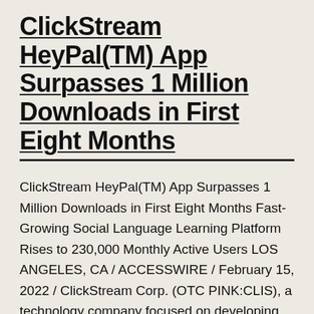ClickStream HeyPal(TM) App Surpasses 1 Million Downloads in First Eight Months
ClickStream HeyPal(TM) App Surpasses 1 Million Downloads in First Eight Months Fast-Growing Social Language Learning Platform Rises to 230,000 Monthly Active Users LOS ANGELES, CA / ACCESSWIRE / February 15, 2022 / ClickStream Corp. (OTC PINK:CLIS), a technology company focused on developing apps and digital platforms that disrupt